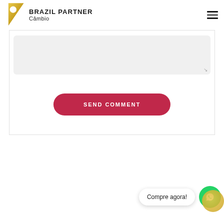[Figure (logo): Brazil Partner Câmbio logo: gold triangular arrow shape with circle cutout, beside text 'BRAZIL PARTNER' and 'Câmbio']
[Figure (other): Textarea input box (light gray) with resize handle, part of a comment form]
SEND COMMENT
PREV
Cras lobortis pretium tinc
Compre agora!